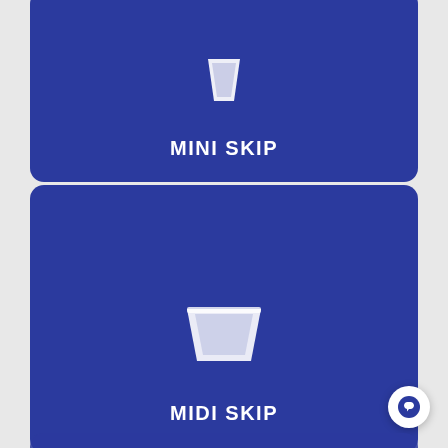[Figure (illustration): Blue rounded card with white mini skip icon and text MINI SKIP]
[Figure (illustration): Blue rounded card with white midi skip container icon and text MIDI SKIP]